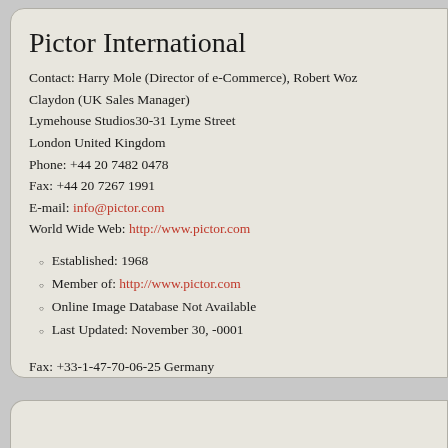Pictor International
Contact: Harry Mole (Director of e-Commerce), Robert Woz Claydon (UK Sales Manager)
Lymehouse Studios30-31 Lyme Street
London United Kingdom
Phone: +44 20 7482 0478
Fax: +44 20 7267 1991
E-mail: info@pictor.com
World Wide Web: http://www.pictor.com
Established: 1968
Member of: http://www.pictor.com
Online Image Database Not Available
Last Updated: November 30, -0001
Fax: +33-1-47-70-06-25 Germany